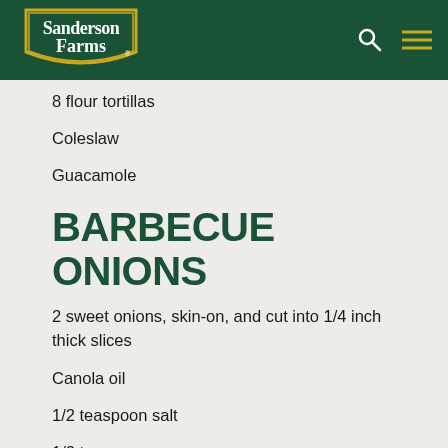Sanderson Farms
8 flour tortillas
Coleslaw
Guacamole
BARBECUE ONIONS
2 sweet onions, skin-on, and cut into 1/4 inch thick slices
Canola oil
1/2 teaspoon salt
1/2 teaspoon pepper
1 cup barbecue sauce